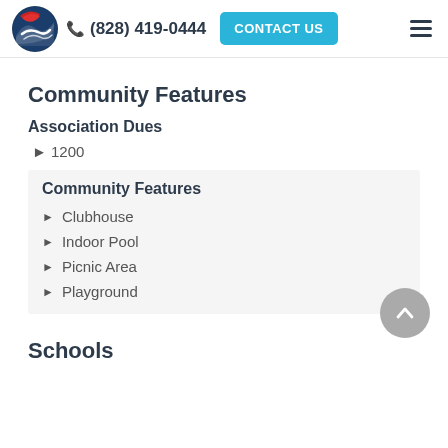(828) 419-0444  CONTACT US
Community Features
Association Dues
1200
Community Features
Clubhouse
Indoor Pool
Picnic Area
Playground
Schools